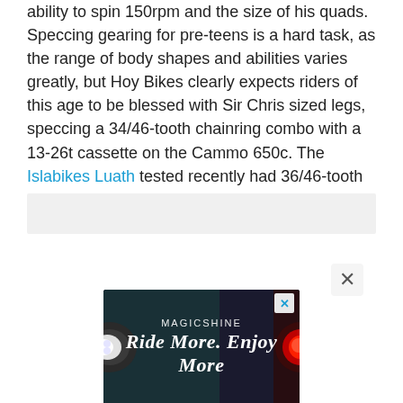ability to spin 150rpm and the size of his quads. Speccing gearing for pre-teens is a hard task, as the range of body shapes and abilities varies greatly, but Hoy Bikes clearly expects riders of this age to be blessed with Sir Chris sized legs, speccing a 34/46-tooth chainring combo with a 13-26t cassette on the Cammo 650c. The Islabikes Luath tested recently had 36/46-tooth chainrings, with a SRAM 11-32t cassette.
[Figure (other): Gray placeholder advertisement box]
[Figure (other): Magicshine advertisement banner with dark background showing bicycle lights and text 'Ride More. Enjoy More' with a red light image on right side. Close button (X) in top right corner.]